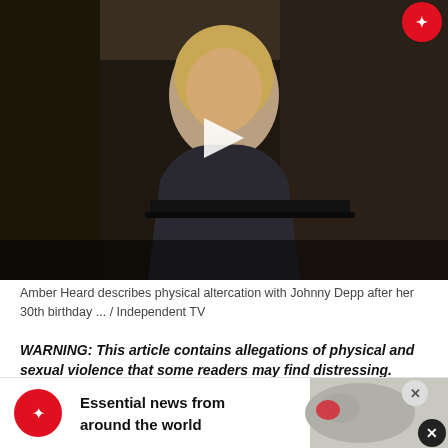[Figure (screenshot): Video thumbnail showing a person (Amber Heard) seated at what appears to be a courtroom witness stand, with a play button overlay in the center. Dark background with wood paneling visible. Red circular logo in top right corner.]
Amber Heard describes physical altercation with Johnny Depp after her 30th birthday ... / Independent TV
WARNING: This article contains allegations of physical and sexual violence that some readers may find distressing.
The Johnny Depp v Amber Heard defamation trial has reached its fifth and final stages in Fairfax, Virginia. Court proceedings resumed on Monday after a week-lo
[Figure (infographic): Advertisement banner at the bottom: red circular logo with bird icon on left, bold text 'Essential news from around the world', world map graphic on right, X close button.]